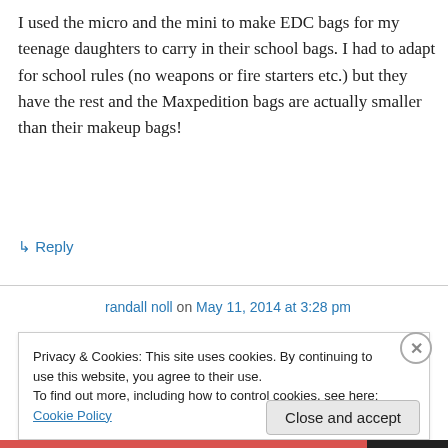I used the micro and the mini to make EDC bags for my teenage daughters to carry in their school bags. I had to adapt for school rules (no weapons or fire starters etc.) but they have the rest and the Maxpedition bags are actually smaller than their makeup bags!
↳ Reply
randall noll on May 11, 2014 at 3:28 pm
Privacy & Cookies: This site uses cookies. By continuing to use this website, you agree to their use.
To find out more, including how to control cookies, see here: Cookie Policy
Close and accept